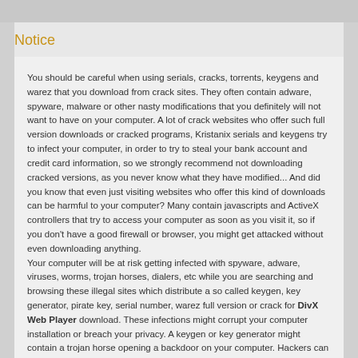Notice
You should be careful when using serials, cracks, torrents, keygens and warez that you download from crack sites. They often contain adware, spyware, malware or other nasty modifications that you definitely will not want to have on your computer. A lot of crack websites who offer such full version downloads or cracked programs, Kristanix serials and keygens try to infect your computer, in order to try to steal your bank account and credit card information, so we strongly recommend not downloading cracked versions, as you never know what they have modified... And did you know that even just visiting websites who offer this kind of downloads can be harmful to your computer? Many contain javascripts and ActiveX controllers that try to access your computer as soon as you visit it, so if you don't have a good firewall or browser, you might get attacked without even downloading anything.
Your computer will be at risk getting infected with spyware, adware, viruses, worms, trojan horses, dialers, etc while you are searching and browsing these illegal sites which distribute a so called keygen, key generator, pirate key, serial number, warez full version or crack for DivX Web Player download. These infections might corrupt your computer installation or breach your privacy. A keygen or key generator might contain a trojan horse opening a backdoor on your computer. Hackers can use this backdoor to take control of your computer, copy data from your